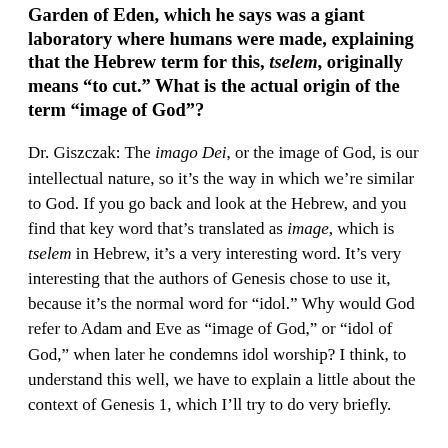Garden of Eden, which he says was a giant laboratory where humans were made, explaining that the Hebrew term for this, tselem, originally means "to cut." What is the actual origin of the term "image of God"?
Dr. Giszczak: The imago Dei, or the image of God, is our intellectual nature, so it's the way in which we're similar to God. If you go back and look at the Hebrew, and you find that key word that's translated as image, which is tselem in Hebrew, it's a very interesting word. It's very interesting that the authors of Genesis chose to use it, because it's the normal word for "idol." Why would God refer to Adam and Eve as "image of God," or "idol of God," when later he condemns idol worship? I think, to understand this well, we have to explain a little about the context of Genesis 1, which I'll try to do very briefly.